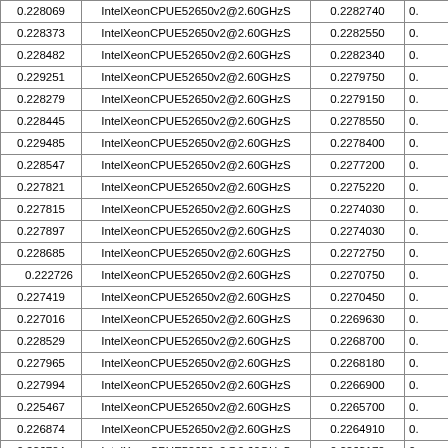|  |  |  |  |
| --- | --- | --- | --- |
| 0.228069 | IntelXeonCPUE52650v2@2.60GHzS | 0.2282740 | 0. |
| 0.228373 | IntelXeonCPUE52650v2@2.60GHzS | 0.2282550 | 0. |
| 0.228482 | IntelXeonCPUE52650v2@2.60GHzS | 0.2282340 | 0. |
| 0.229251 | IntelXeonCPUE52650v2@2.60GHzS | 0.2279750 | 0. |
| 0.228279 | IntelXeonCPUE52650v2@2.60GHzS | 0.2279150 | 0. |
| 0.228445 | IntelXeonCPUE52650v2@2.60GHzS | 0.2278550 | 0. |
| 0.229485 | IntelXeonCPUE52650v2@2.60GHzS | 0.2278400 | 0. |
| 0.228547 | IntelXeonCPUE52650v2@2.60GHzS | 0.2277200 | 0. |
| 0.227821 | IntelXeonCPUE52650v2@2.60GHzS | 0.2275220 | 0. |
| 0.227815 | IntelXeonCPUE52650v2@2.60GHzS | 0.2274030 | 0. |
| 0.227897 | IntelXeonCPUE52650v2@2.60GHzS | 0.2274030 | 0. |
| 0.228685 | IntelXeonCPUE52650v2@2.60GHzS | 0.2272750 | 0. |
| 0.222726 | IntelXeonCPUE52650v2@2.60GHzS | 0.2270750 | 0. |
| 0.227419 | IntelXeonCPUE52650v2@2.60GHzS | 0.2270450 | 0. |
| 0.227016 | IntelXeonCPUE52650v2@2.60GHzS | 0.2269630 | 0. |
| 0.228529 | IntelXeonCPUE52650v2@2.60GHzS | 0.2268700 | 0. |
| 0.227965 | IntelXeonCPUE52650v2@2.60GHzS | 0.2268180 | 0. |
| 0.227994 | IntelXeonCPUE52650v2@2.60GHzS | 0.2266900 | 0. |
| 0.225467 | IntelXeonCPUE52650v2@2.60GHzS | 0.2265700 | 0. |
| 0.226874 | IntelXeonCPUE52650v2@2.60GHzS | 0.2264910 | 0. |
| 0.226704 | IntelXeonCPUE52650v2@2.60GHzS | 0.2263170 | 0. |
| 0.226527 | IntelXeonCPUE52650v2@2.60GHzS | 0.2263100 | 0. |
| 0.225435 | IntelXeonCPUE52650v2@2.60GHzS | 0.2261790 | 0. |
| 0.226175 | IntelXeonCPUE52650v2@2.60GHzS | 0.2259170 | 0. |